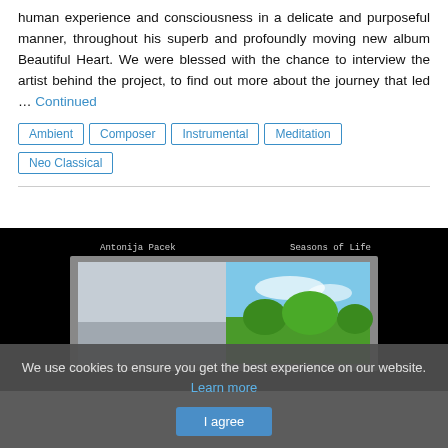human experience and consciousness in a delicate and purposeful manner, throughout his superb and profoundly moving new album Beautiful Heart. We were blessed with the chance to interview the artist behind the project, to find out more about the journey that led … Continued
Ambient
Composer
Instrumental
Meditation
Neo Classical
[Figure (photo): Album cover image for 'Seasons of Life' by Antonija Pacek, showing a nature scene with trees and sky, on a black background.]
We use cookies to ensure you get the best experience on our website. Learn more
I agree